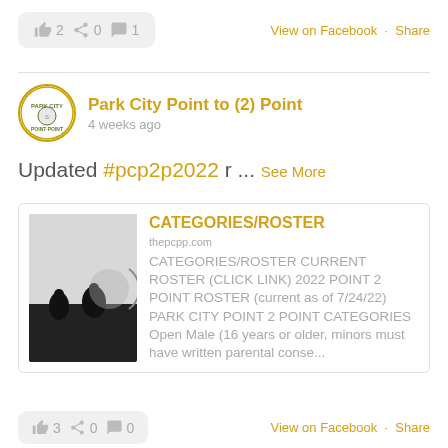[Figure (screenshot): Facebook post reaction bar with like (2), share (0), comment (1) icons and View on Facebook / Share links]
Park City Point to (2) Point
4 weeks ago
Updated #pcp2p2022 r ... See More
[Figure (screenshot): Link card for CATEGORIES/ROSTER on thepcpp.com with thumbnail of cyclists silhouette and description text]
[Figure (screenshot): Bottom reaction bar with like (3), share (0), comment (0) icons and View on Facebook / Share links]